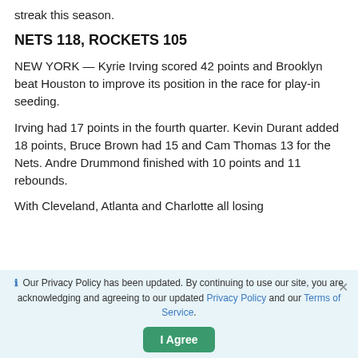streak this season.
NETS 118, ROCKETS 105
NEW YORK — Kyrie Irving scored 42 points and Brooklyn beat Houston to improve its position in the race for play-in seeding.
Irving had 17 points in the fourth quarter. Kevin Durant added 18 points, Bruce Brown had 15 and Cam Thomas 13 for the Nets. Andre Drummond finished with 10 points and 11 rebounds.
With Cleveland, Atlanta and Charlotte all losing
ℹ Our Privacy Policy has been updated. By continuing to use our site, you are acknowledging and agreeing to our updated Privacy Policy and our Terms of Service.